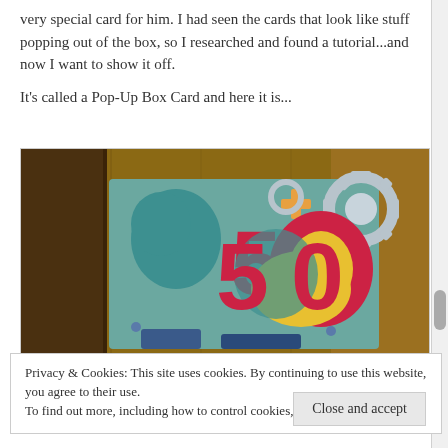very special card for him. I had seen the cards that look like stuff popping out of the box, so I researched and found a tutorial...and now I want to show it off.

It's called a Pop-Up Box Card and here it is...
[Figure (photo): Photo of a handmade Pop-Up Box Card showing a '50' birthday card with colorful paper cutouts including teal, red, yellow numbers and decorative gear shapes against a wooden background.]
Privacy & Cookies: This site uses cookies. By continuing to use this website, you agree to their use.
To find out more, including how to control cookies, see here: Cookie Policy